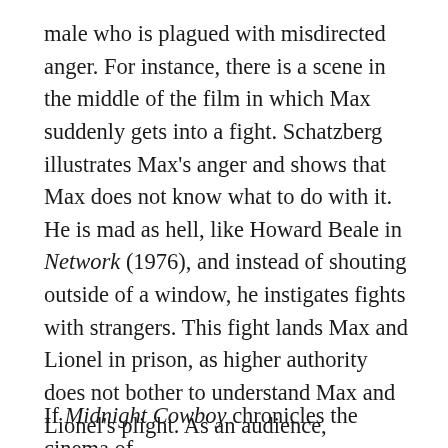male who is plagued with misdirected anger. For instance, there is a scene in the middle of the film in which Max suddenly gets into a fight. Schatzberg illustrates Max's anger and shows that Max does not know what to do with it. He is mad as hell, like Howard Beale in Network (1976), and instead of shouting outside of a window, he instigates fights with strangers. This fight lands Max and Lionel in prison, as higher authority does not bother to understand Max and Lionel's plight. As an audience, however, we feel sympathy for them, and are aware that they are victims of their circumstance.
If Midnight Cowboy chronicles the cinema of